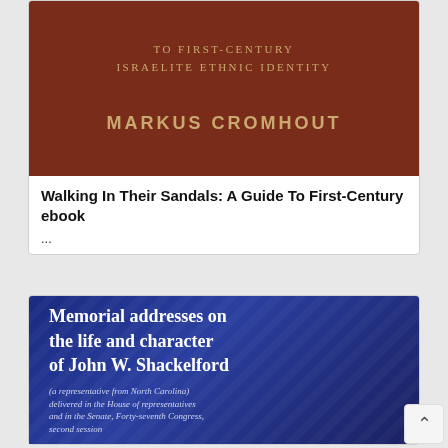[Figure (illustration): Book cover with brown/rust background showing text 'TO FIRST-CENTURY ISRAELITE ETHNIC IDENTITY' and author name 'MARKUS CROMHOUT' in gold/tan letters]
Walking In Their Sandals: A Guide To First-Century ebook
...
[Figure (illustration): Book cover with dark blue background and diagonal stripe texture. Title reads 'Memorial addresses on the life and character of John W. Shackelford'. Subtitle reads '(a representative from North Carolina) delivered in the House of representatives and in the Senate, Forty-seventh Congress, second session']